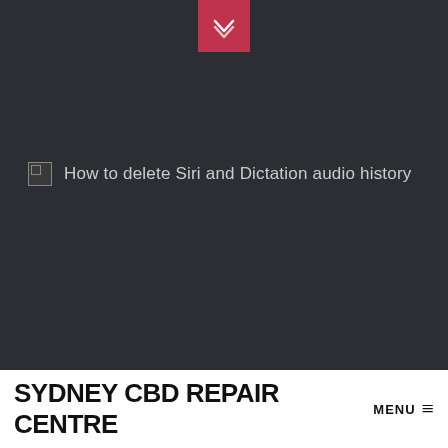[Figure (other): Pink/red downward chevron button at top center of dark area]
[Figure (other): Broken image placeholder with alt text: How to delete Siri and Dictation audio history]
[Figure (other): Teal circular chat/support button on the left side]
SYDNEY CBD REPAIR CENTRE
MENU ≡